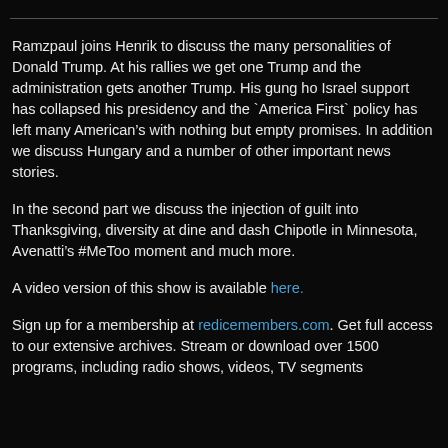Ramzpaul joins Henrik to discuss the many personalities of Donald Trump. At his rallies we get one Trump and the administration gets another Trump. His gung ho Israel support has collapsed his presidency and the 'America First' policy has left many American's with nothing but empty promises. In addition we discuss Hungary and a number of other important news stories.
In the second part we discuss the injection of guilt into Thanksgiving, diversity at dine and dash Chipotle in Minnesota, Avenatti's #MeToo moment and much more.
A video version of this show is available here.
Sign up for a membership at redicemembers.com. Get full access to our extensive archives. Stream or download over 1500 programs, including radio shows, videos, TV segments...